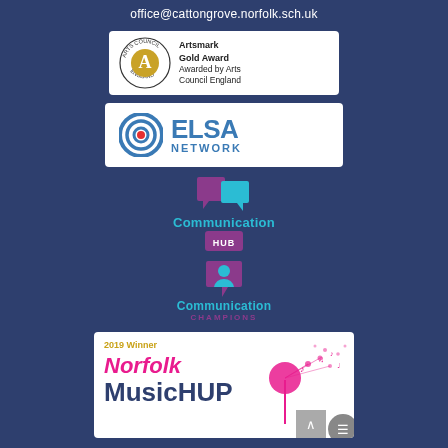office@cattongrove.norfolk.sch.uk
[Figure (logo): Artsmark Gold Award badge with Arts Council England logo — circular Arts Council England seal beside gold A emblem, text: Artsmark Gold Award Awarded by Arts Council England]
[Figure (logo): ELSA Network logo — blue concentric circle target icon with red center dot, beside large blue ELSA NETWORK text]
[Figure (logo): Communication HUB logo — two speech bubble silhouettes in purple and cyan above the text Communication HUB]
[Figure (logo): Communication Champions logo — single speech bubble silhouette in cyan and purple above the text Communication CHAMPIONS]
[Figure (logo): Norfolk Music HUB 2019 Winner banner — white background with dandelion illustration scattering musical notes, text: 2019 Winner, Norfolk (pink italic), Music HUP (dark blue bold)]